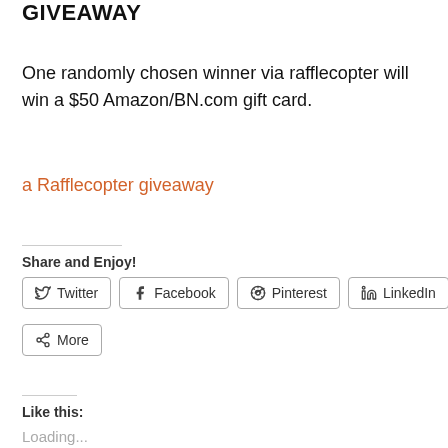GIVEAWAY
One randomly chosen winner via rafflecopter will win a $50 Amazon/BN.com gift card.
a Rafflecopter giveaway
Share and Enjoy!
Twitter  Facebook  Pinterest  LinkedIn
More
Like this:
Loading...